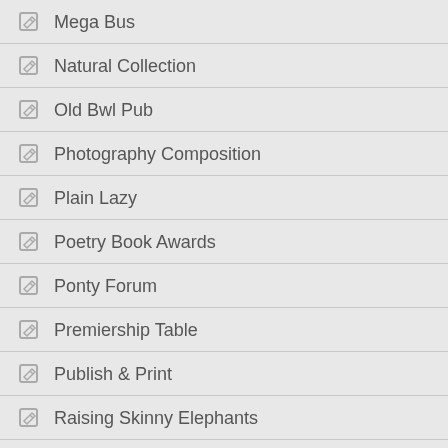Mega Bus
Natural Collection
Old Bwl Pub
Photography Composition
Plain Lazy
Poetry Book Awards
Ponty Forum
Premiership Table
Publish & Print
Raising Skinny Elephants